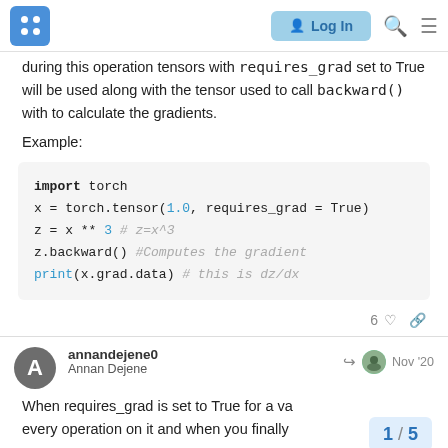Logo | Log In
during this operation tensors with requires_grad set to True will be used along with the tensor used to call backward() with to calculate the gradients.
Example:
import torch
x = torch.tensor(1.0, requires_grad = True)
z = x ** 3 # z=x^3
z.backward() #Computes the gradient
print(x.grad.data) # this is dz/dx
6 likes
annandejene0
Annan Dejene
Nov '20
When requires_grad is set to True for a va every operation on it and when you finally
1 / 5